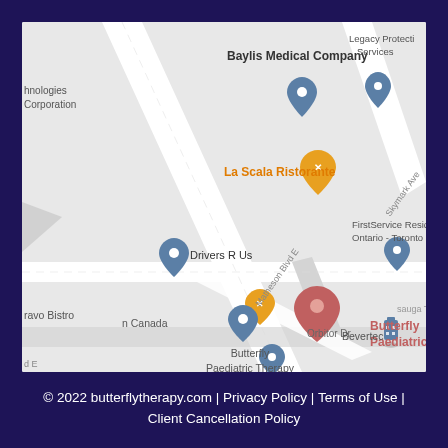[Figure (map): Google Maps screenshot showing the location of Butterfly Paediatric Therapy in Mississauga, Ontario. Nearby landmarks include Baylis Medical Company, Legacy Protection Services, La Scala Ristorante, Drivers R Us, Bravo Bistro, FirstService Residential Ontario - Toronto, Bevertec, and Orbitor Dr / Matheson Blvd E / Skymark Ave street labels.]
© 2022 butterflytherapy.com | Privacy Policy | Terms of Use | Client Cancellation Policy